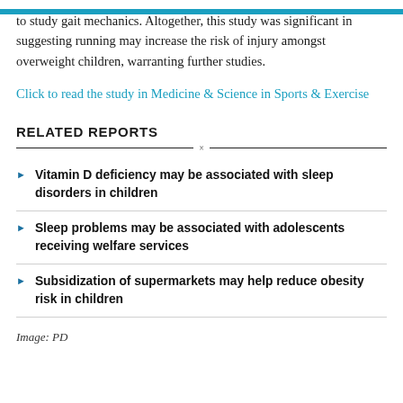to study gait mechanics. Altogether, this study was significant in suggesting running may increase the risk of injury amongst overweight children, warranting further studies.
Click to read the study in Medicine & Science in Sports & Exercise
RELATED REPORTS
Vitamin D deficiency may be associated with sleep disorders in children
Sleep problems may be associated with adolescents receiving welfare services
Subsidization of supermarkets may help reduce obesity risk in children
Image: PD